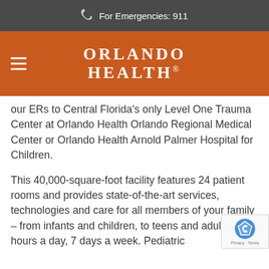For Emergencies: 911
[Figure (logo): Orlando Health logo in white text on orange background with hamburger menu icon]
our ERs to Central Florida's only Level One Trauma Center at Orlando Health Orlando Regional Medical Center or Orlando Health Arnold Palmer Hospital for Children.
This 40,000-square-foot facility features 24 patient rooms and provides state-of-the-art services, technologies and care for all members of your family – from infants and children, to teens and adults – 24 hours a day, 7 days a week. Pediatric